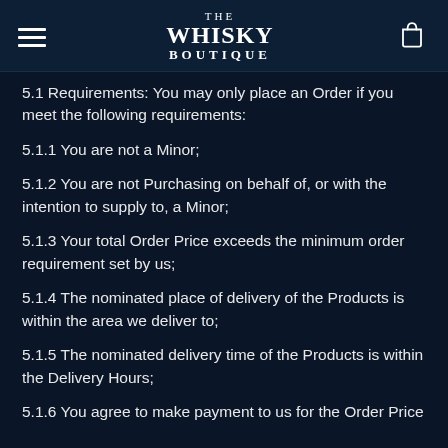THE WHISKY BOUTIQUE
5.1 Requirements: You may only place an Order if you meet the following requirements:
5.1.1 You are not a Minor;
5.1.2 You are not Purchasing on behalf of, or with the intention to supply to, a Minor;
5.1.3 Your total Order Price exceeds the minimum order requirement set by us;
5.1.4 The nominated place of delivery of the Products is within the area we deliver to;
5.1.5 The nominated delivery time of the Products is within the Delivery Hours;
5.1.6 You agree to make payment to us for the Order Price